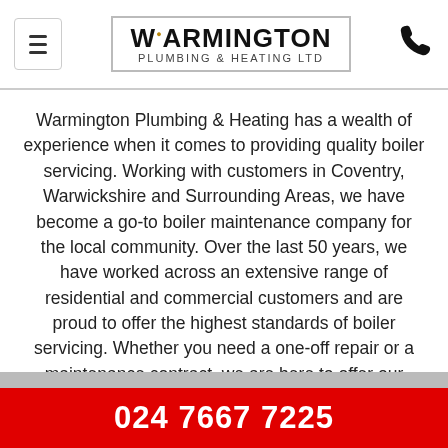Warmington Plumbing & Heating Ltd
Warmington Plumbing & Heating has a wealth of experience when it comes to providing quality boiler servicing. Working with customers in Coventry, Warwickshire and Surrounding Areas, we have become a go-to boiler maintenance company for the local community. Over the last 50 years, we have worked across an extensive range of residential and commercial customers and are proud to offer the highest standards of boiler servicing. Whether you need a one-off repair or a maintenance contract, we are here to offer our expertise.
024 7667 7225